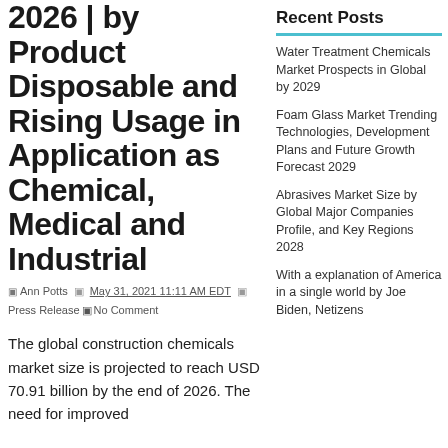2026 | by Product Disposable and Rising Usage in Application as Chemical, Medical and Industrial
Ann Potts   May 31, 2021 11:11 AM EDT   Press Release   No Comment
The global construction chemicals market size is projected to reach USD 70.91 billion by the end of 2026. The need for improved
Recent Posts
Water Treatment Chemicals Market Prospects in Global by 2029
Foam Glass Market Trending Technologies, Development Plans and Future Growth Forecast 2029
Abrasives Market Size by Global Major Companies Profile, and Key Regions 2028
With a explanation of America in a single world by Joe Biden, Netizens